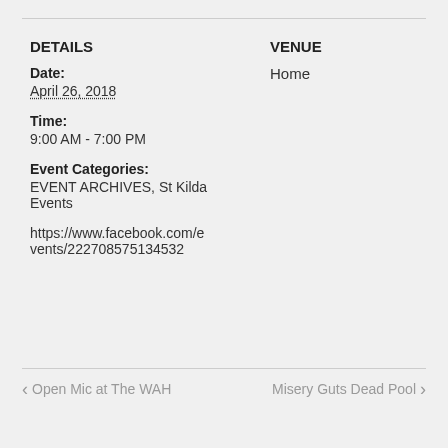DETAILS
Date:
April 26, 2018
Time:
9:00 AM - 7:00 PM
Event Categories:
EVENT ARCHIVES, St Kilda Events
https://www.facebook.com/events/222708575134532
VENUE
Home
< Open Mic at The WAH   Misery Guts Dead Pool >